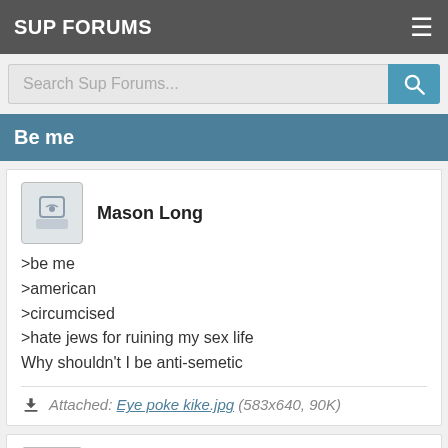SUP FORUMS
Search Sup Forums...
Be me
Mason Long
>be me
>american
>circumcised
>hate jews for ruining my sex life
Why shouldn't I be anti-semetic
Attached: Eye poke kike.jpg (583x640, 90K)
Gabriel Martinez
>jews aren't the reason americans circumcise.